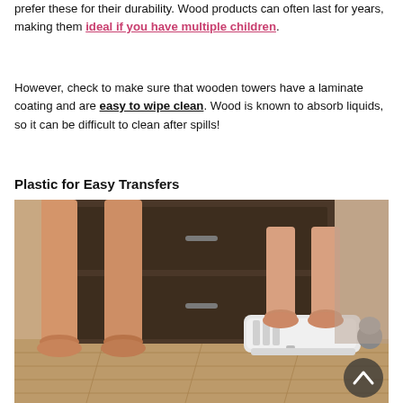prefer these for their durability. Wood products can often last for years, making them ideal if you have multiple children.
However, check to make sure that wooden towers have a laminate coating and are easy to wipe clean. Wood is known to absorb liquids, so it can be difficult to clean after spills!
Plastic for Easy Transfers
[Figure (photo): Two pairs of legs (adult and child) standing near a dark wooden dresser; the child is standing on a white plastic step stool on a wooden floor.]